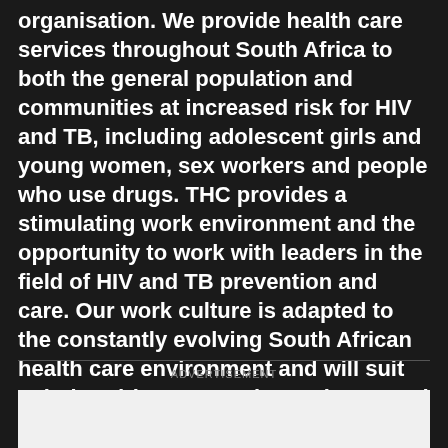organisation. We provide health care services throughout South Africa to both the general population and communities at increased risk for HIV and TB, including adolescent girls and young women, sex workers and people who use drugs. THC provides a stimulating work environment and the opportunity to work with leaders in the field of HIV and TB prevention and care. Our work culture is adapted to the constantly evolving South African health care environment and will suit solution-driven team players interested in opportunities for career development while working to connect people with care.
ADVERTISEMENT